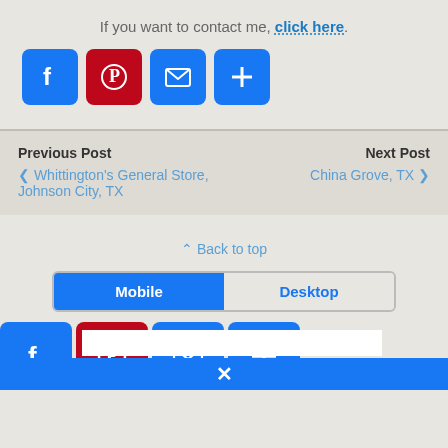If you want to contact me, click here.
[Figure (infographic): Row of four social share buttons: Facebook (blue), Pinterest (red), Email (blue), More/Plus (blue)]
Previous Post
< Whittington's General Store, Johnson City, TX
Next Post
China Grove, TX >
^ Back to top
[Figure (screenshot): Mobile/Desktop tab switcher with Mobile tab selected (blue), Desktop tab unselected]
[Figure (infographic): Row of four social share buttons bottom: Facebook, Pinterest, Email, Plus]
[Figure (screenshot): Blue bottom bar with X close button]